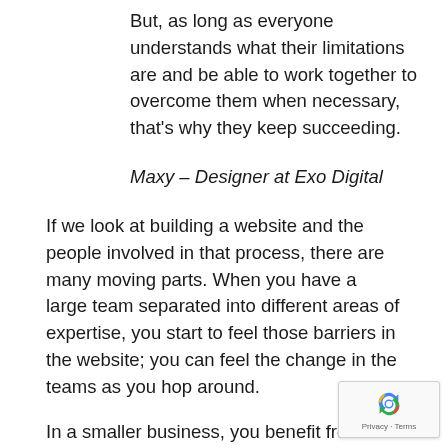But, as long as everyone understands what their limitations are and be able to work together to overcome them when necessary, that's why they keep succeeding.
Maxy – Designer at Exo Digital
If we look at building a website and the people involved in that process, there are many moving parts. When you have a large team separated into different areas of expertise, you start to feel those barriers in the website; you can feel the change in the teams as you hop around.
In a smaller business, you benefit from having a seamless experience, but the website might be a